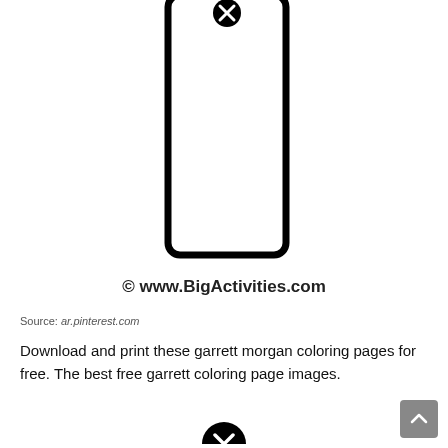[Figure (illustration): Partial view of a tall rectangular coloring page outline (bookmark or thermometer shape) with a circle X icon at the top, and a watermark reading '© www.BigActivities.com' at the bottom of the image area.]
Source: ar.pinterest.com
Download and print these garrett morgan coloring pages for free. The best free garrett coloring page images.
[Figure (illustration): Circle with X icon (close button) partially visible at bottom of page.]